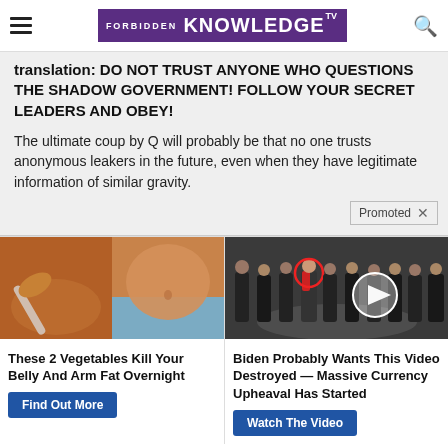Forbidden Knowledge TV
translation: DO NOT TRUST ANYONE WHO QUESTIONS THE SHADOW GOVERNMENT! FOLLOW YOUR SECRET LEADERS AND OBEY!

The ultimate coup by Q will probably be that no one trusts anonymous leakers in the future, even when they have legitimate information of similar gravity.
[Figure (photo): Ad image showing spice on a spoon next to a person's midriff]
These 2 Vegetables Kill Your Belly And Arm Fat Overnight
Find Out More
[Figure (photo): Ad image showing group of men in suits at CIA headquarters with a video play button overlay]
Biden Probably Wants This Video Destroyed — Massive Currency Upheaval Has Started
Watch The Video